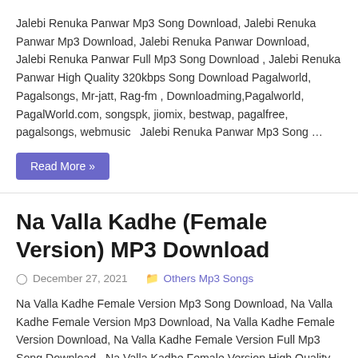Jalebi Renuka Panwar Mp3 Song Download, Jalebi Renuka Panwar Mp3 Download, Jalebi Renuka Panwar Download, Jalebi Renuka Panwar Full Mp3 Song Download , Jalebi Renuka Panwar High Quality 320kbps Song Download Pagalworld, Pagalsongs, Mr-jatt, Rag-fm , Downloadming,Pagalworld, PagalWorld.com, songspk, jiomix, bestwap, pagalfree, pagalsongs, webmusic   Jalebi Renuka Panwar Mp3 Song …
Read More »
Na Valla Kadhe (Female Version) MP3 Download
December 27, 2021   Others Mp3 Songs
Na Valla Kadhe Female Version Mp3 Song Download, Na Valla Kadhe Female Version Mp3 Download, Na Valla Kadhe Female Version Download, Na Valla Kadhe Female Version Full Mp3 Song Download , Na Valla Kadhe Female Version High Quality 320kbps Song Download Pagalworld, Pagalsongs, Mr-jatt, Rag-fm , Downloadming,Pagalworld, PagalWorld.com, songspk, jiomix, …